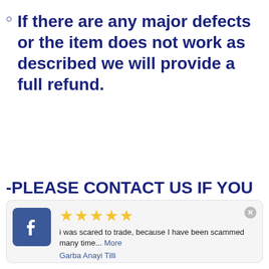If there are any major defects or the item does not work as described we will provide a full refund.
-PLEASE CONTACT US IF YOU HAVE ANY QUESTIONS- Electrical Power and Control
[Figure (screenshot): Facebook review card with 5 stars, review text 'i was scared to trade, because I have been scammed many time... More', reviewer name 'Garba Anayi Tilli', and a close button.]